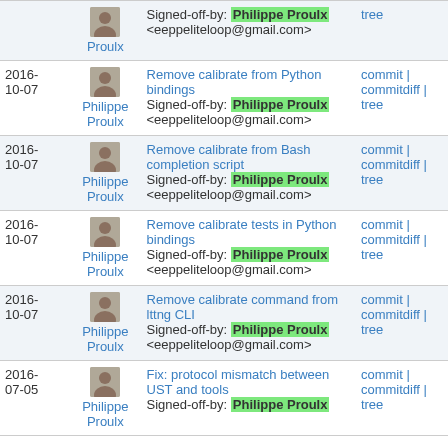| Date | Author | Commit message | Links |
| --- | --- | --- | --- |
|  | Philippe Proulx | Signed-off-by: Philippe Proulx <eeppeliteloop@gmail.com> | tree |
| 2016-10-07 | Philippe Proulx | Remove calibrate from Python bindings
Signed-off-by: Philippe Proulx <eeppeliteloop@gmail.com> | commit | commitdiff | tree |
| 2016-10-07 | Philippe Proulx | Remove calibrate from Bash completion script
Signed-off-by: Philippe Proulx <eeppeliteloop@gmail.com> | commit | commitdiff | tree |
| 2016-10-07 | Philippe Proulx | Remove calibrate tests in Python bindings
Signed-off-by: Philippe Proulx <eeppeliteloop@gmail.com> | commit | commitdiff | tree |
| 2016-10-07 | Philippe Proulx | Remove calibrate command from lttng CLI
Signed-off-by: Philippe Proulx <eeppeliteloop@gmail.com> | commit | commitdiff | tree |
| 2016-07-05 | Philippe Proulx | Fix: protocol mismatch between UST and tools
Signed-off-by: Philippe Proulx | commit | commitdiff | tree |